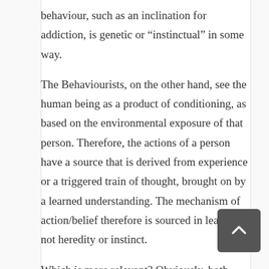behaviour, such as an inclination for addiction, is genetic or “instinctual” in some way.
The Behaviourists, on the other hand, see the human being as a product of conditioning, as based on the environmental exposure of that person. Therefore, the actions of a person have a source that is derived from experience or a triggered train of thought, brought on by a learned understanding. The mechanism of action/belief therefore is sourced in learning, not heredity or instinct.
Which is more relevant? Obviously, both views are relevant in certain ways. Our interest in